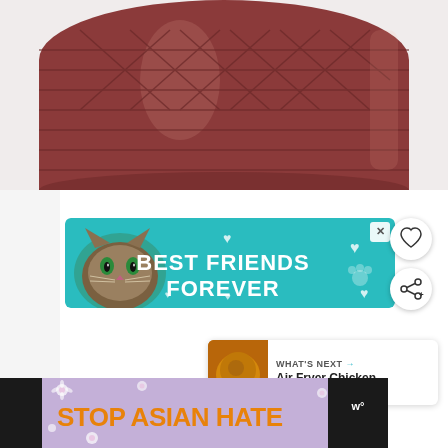[Figure (photo): Close-up photo of a glass jar filled with dark reddish-brown liquid (likely syrup or jam), with an embossed geometric diamond/floral pattern on the glass, against a white/light gray background.]
[Figure (photo): Advertisement banner with teal/turquoise background featuring a cat with text 'BEST FRIENDS FOREVER' in bold white letters, with heart and paw graphics. Has an X close button in the top right.]
[Figure (illustration): Heart (favorite) button - circular white button with a heart outline icon]
[Figure (illustration): Share button - circular white button with a share/network icon]
[Figure (photo): WHAT'S NEXT panel showing a thumbnail of Air Fryer Chicken with text 'WHAT'S NEXT → Air Fryer Chicken...']
[Figure (photo): Bottom advertisement banner with dark background showing 'STOP ASIAN HATE' text in orange, with a cartoon/illustration figure on the right side, purple/lavender background with flower patterns. Has an X close button.]